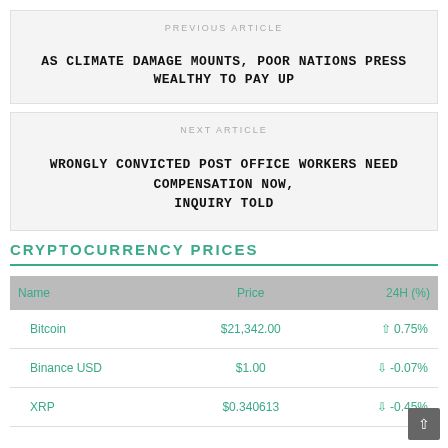PREVIOUS ARTICLE
AS CLIMATE DAMAGE MOUNTS, POOR NATIONS PRESS WEALTHY TO PAY UP
NEXT ARTICLE
WRONGLY CONVICTED POST OFFICE WORKERS NEED COMPENSATION NOW, INQUIRY TOLD
CRYPTOCURRENCY PRICES
| Name | Price | 24H (%) |
| --- | --- | --- |
| Bitcoin | $21,342.00 | ↑ 0.75% |
| Binance USD | $1.00 | ↓ -0.07% |
| XRP | $0.340613 | ↓ -0.45% |